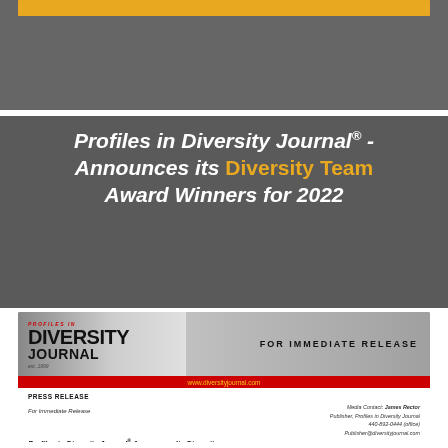[Figure (other): Top gray banner with gold stripe]
Profiles in Diversity Journal® - Announces its Diversity Team Award Winners for 2022
[Figure (other): Press release document thumbnail showing Profiles in Diversity Journal header with FOR IMMEDIATE RELEASE, red bar with www.diversityjournal.com, PRESS RELEASE label, media contact info for James Rector, For Immediate Release heading, article title 'Profiles in Diversity Journal® Announces Its Diversity Team Award Winners for 2022', and beginning of body text about Cleveland OH July 13 2022 announcement.]